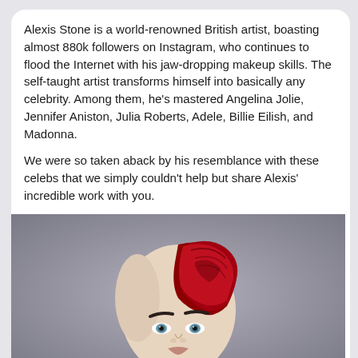Alexis Stone is a world-renowned British artist, boasting almost 880k followers on Instagram, who continues to flood the Internet with his jaw-dropping makeup skills. The self-taught artist transforms himself into basically any celebrity. Among them, he's mastered Angelina Jolie, Jennifer Aniston, Julia Roberts, Adele, Billie Eilish, and Madonna.
We were so taken aback by his resemblance with these celebs that we simply couldn't help but share Alexis' incredible work with you.
[Figure (photo): Portrait photo of Alexis Stone with a shaved head on one side and bright red hair swept to the right, with dark shaped eyebrows and blue-green eyes, against a grey background.]